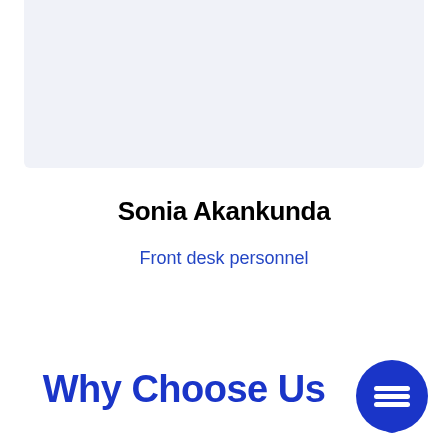[Figure (other): Light blue-grey rectangular panel at the top of the page, serving as a photo placeholder background]
Sonia Akankunda
Front desk personnel
Why Choose Us
[Figure (other): Dark blue circular chat/message icon with three horizontal lines, positioned bottom right]